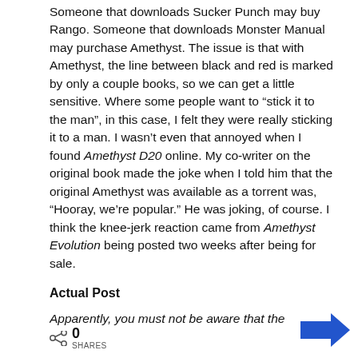Someone that downloads Sucker Punch may buy Rango. Someone that downloads Monster Manual may purchase Amethyst. The issue is that with Amethyst, the line between black and red is marked by only a couple books, so we can get a little sensitive. Where some people want to “stick it to the man”, in this case, I felt they were really sticking it to a man. I wasn’t even that annoyed when I found Amethyst D20 online. My co-writer on the original book made the joke when I told him that the original Amethyst was available as a torrent was, “Hooray, we’re popular.” He was joking, of course. I think the knee-jerk reaction came from Amethyst Evolution being posted two weeks after being for sale.
Actual Post
Apparently, you must not be aware that the law is